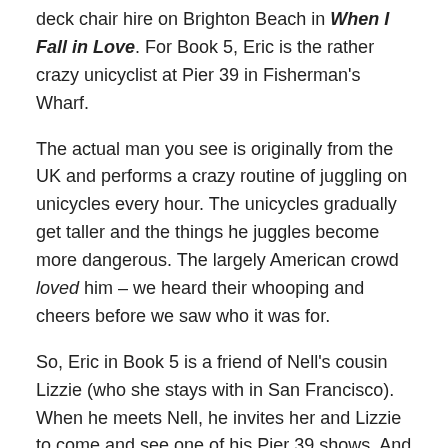deck chair hire on Brighton Beach in When I Fall in Love. For Book 5, Eric is the rather crazy unicyclist at Pier 39 in Fisherman's Wharf.
The actual man you see is originally from the UK and performs a crazy routine of juggling on unicycles every hour. The unicycles gradually get taller and the things he juggles become more dangerous. The largely American crowd loved him – we heard their whooping and cheers before we saw who it was for.
So, Eric in Book 5 is a friend of Nell's cousin Lizzie (who she stays with in San Francisco). When he meets Nell, he invites her and Lizzie to come and see one of his Pier 39 shows. And it is while she is watching the show that she first lays eyes on a gorgeous stranger who is about to become so much more…